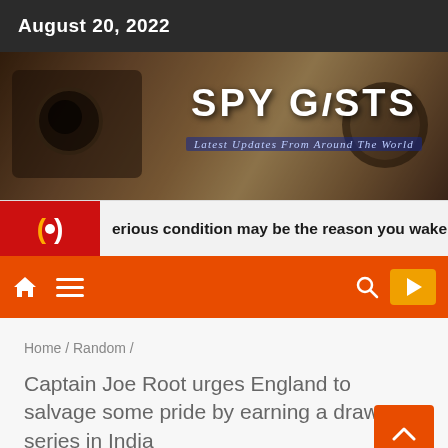August 20, 2022
[Figure (photo): Spy Gists website banner with dark sepia-toned camera image and 'SPY GiSTS' logo text and tagline 'Latest Updates From Around The World']
erious condition may be the reason you wake up at the s
Home / Random / Captain Joe Root urges England to salvage some pride by earning a drawn series in India